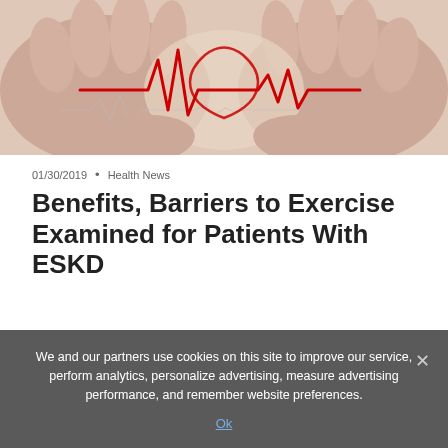[Figure (photo): Medical/health photo showing two hands cupped together with a red ECG/heartbeat line graphic overlaid in the center, symbolizing cardiac health or patient care.]
01/30/2019 • Health News
Benefits, Barriers to Exercise Examined for Patients With ESKD
We and our partners use cookies on this site to improve our service, perform analytics, personalize advertising, measure advertising performance, and remember website preferences.
Ok